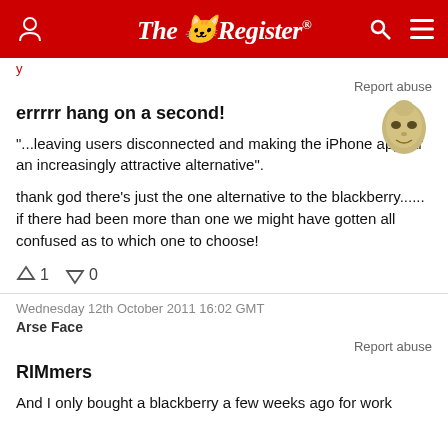The Register
Report abuse
errrrr hang on a second!
"...leaving users disconnected and making the iPhone appear an increasingly attractive alternative".
thank god there's just the one alternative to the blackberry...... if there had been more than one we might have gotten all confused as to which one to choose!
↑1  ↓0
Wednesday 12th October 2011 16:02 GMT
Arse Face
Report abuse
RIMmers
And I only bought a blackberry a few weeks ago for work